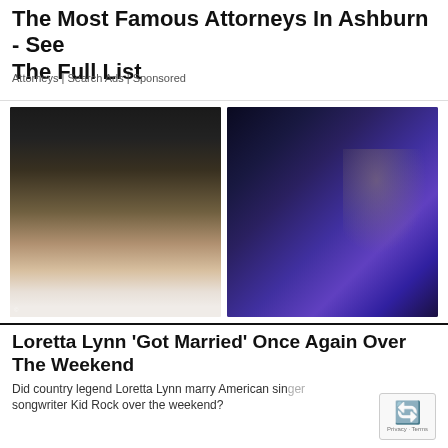The Most Famous Attorneys In Ashburn - See The Full List
Attorneys | Search Ads | Sponsored
[Figure (photo): Two photos side by side: left shows an older woman with glasses and a man wearing a fedora hat and sleeveless vest; right shows concert audience scene under blue/purple stage lighting]
Loretta Lynn 'Got Married' Once Again Over The Weekend
Did country legend Loretta Lynn marry American singer songwriter Kid Rock over the weekend?